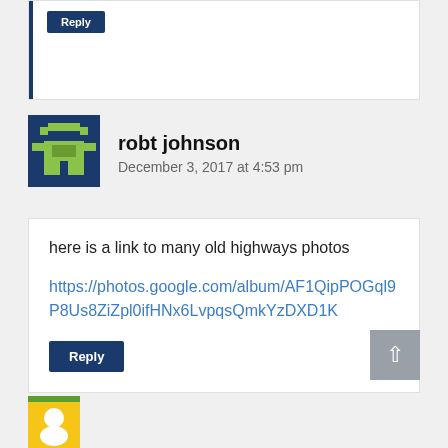[Figure (screenshot): Top of a previous comment showing a 'Reply' button and a blue left border, partially cut off at top of page]
robt johnson
December 3, 2017 at 4:53 pm
here is a link to many old highways photos
https://photos.google.com/album/AF1QipPOGql9P8Us8ZiZpl0ifHNx6LvpqsQmkYzDXD1K
Reply
[Figure (screenshot): Partially visible next comment at the bottom with a yellow/green avatar icon]